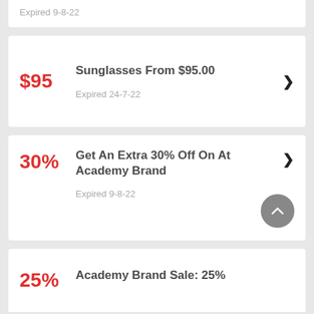Expired 9-8-22
$95 — Sunglasses From $95.00 — Expired 24-7-22
30% — Get An Extra 30% Off On At Academy Brand — Expired 9-8-22
25% — Academy Brand Sale: 25%